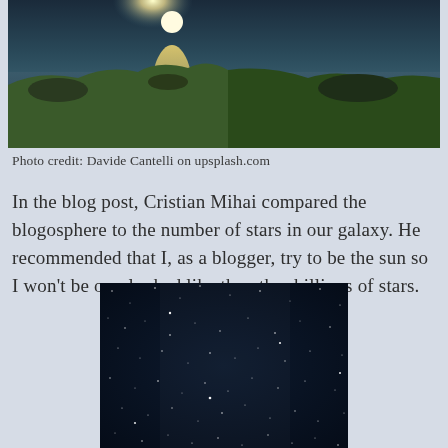[Figure (photo): Landscape photo showing moonlight reflected on water, green rocky terrain in the foreground, taken at dusk or night.]
Photo credit: Davide Cantelli on upsplash.com
In the blog post, Cristian Mihai compared the blogosphere to the number of stars in our galaxy. He recommended that I, as a blogger, try to be the sun so I won't be overlooked like the other billions of stars.
[Figure (photo): Dark night sky photograph showing many stars scattered across a deep blue-black sky.]